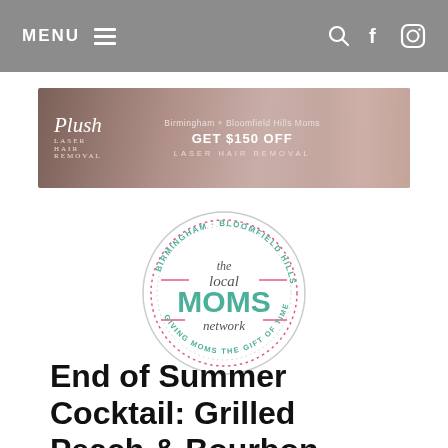MENU
[Figure (illustration): Plush laser hair removal banner ad: Birmingham + Bloomfield Hills Moms, GET $150 OFF, LASER HAIR REMOVAL]
[Figure (logo): Birmingham Bloomfield Hills - The Local MOMS Network - Giving Moms The Gift Of Time circular logo]
End of Summer Cocktail: Grilled Peach & Bourbon Smash